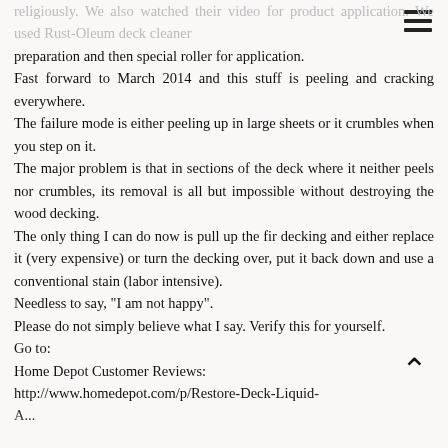religiously. We also watched their video for product application. We used Rust-Oleum deck cleaner preparation and then special roller for application. Fast forward to March 2014 and this stuff is peeling and cracking everywhere.
The failure mode is either peeling up in large sheets or it crumbles when you step on it.
The major problem is that in sections of the deck where it neither peels nor crumbles, its removal is all but impossible without destroying the wood decking.
The only thing I can do now is pull up the fir decking and either replace it (very expensive) or turn the decking over, put it back down and use a conventional stain (labor intensive).
Needless to say, "I am not happy".
Please do not simply believe what I say. Verify this for yourself.
Go to:
Home Depot Customer Reviews:
http://www.homedepot.com/p/Restore-Deck-Liquid-A...